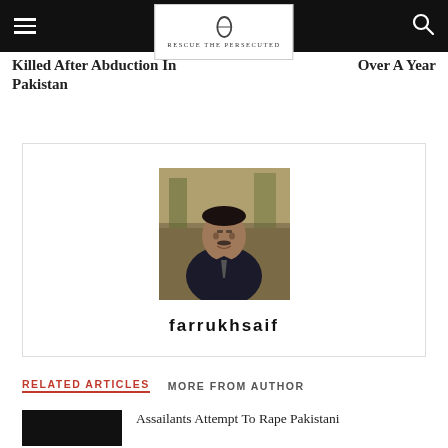Rescue The Persecuted – navigation bar with hamburger menu and search icon
Killed After Abduction In Pakistan
Over A Year
[Figure (photo): Portrait photo of a middle-aged South Asian man in a dark jacket and tie, outdoors with trees in background]
farrukhsaif
RELATED ARTICLES    MORE FROM AUTHOR
Assailants Attempt To Rape Pakistani